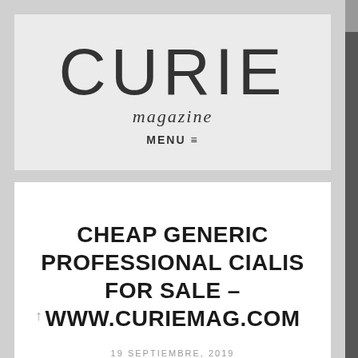CURIE magazine MENU ≡
CHEAP GENERIC PROFESSIONAL CIALIS FOR SALE – WWW.CURIEMAG.COM
19 SEPTIEMBRE, 2019
SIN CATEGORÍA